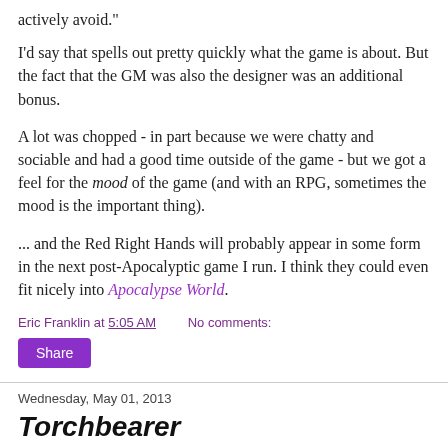actively avoid."
I'd say that spells out pretty quickly what the game is about. But the fact that the GM was also the designer was an additional bonus.
A lot was chopped - in part because we were chatty and sociable and had a good time outside of the game - but we got a feel for the mood of the game (and with an RPG, sometimes the mood is the important thing).
... and the Red Right Hands will probably appear in some form in the next post-Apocalyptic game I run.  I think they could even fit nicely into Apocalypse World.
Eric Franklin at 5:05 AM    No comments:
Share
Wednesday, May 01, 2013
Torchbearer